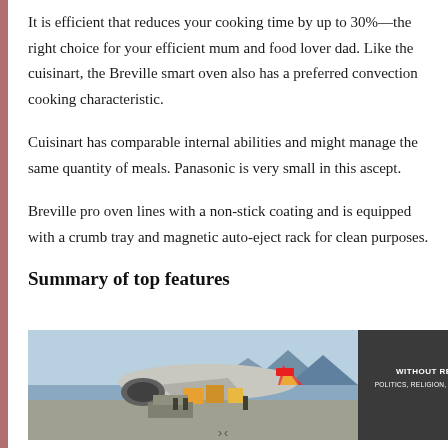It is efficient that reduces your cooking time by up to 30%—the right choice for your efficient mum and food lover dad. Like the cuisinart, the Breville smart oven also has a preferred convection cooking characteristic.
Cuisinart has comparable internal abilities and might manage the same quantity of meals. Panasonic is very small in this ascept.
Breville pro oven lines with a non-stick coating and is equipped with a crumb tray and magnetic auto-eject rack for clean purposes.
Summary of top features
[Figure (photo): Advertisement showing an airplane being loaded with cargo on a tarmac, with a dark panel on the right reading 'WITHOUT REGARD TO POLITICS, RELIGION, OR ABILITY TO PAY']